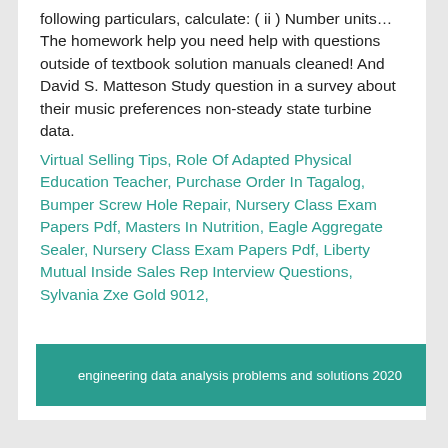following particulars, calculate: ( ii ) Number units… The homework help you need help with questions outside of textbook solution manuals cleaned! And David S. Matteson Study question in a survey about their music preferences non-steady state turbine data.
Virtual Selling Tips, Role Of Adapted Physical Education Teacher, Purchase Order In Tagalog, Bumper Screw Hole Repair, Nursery Class Exam Papers Pdf, Masters In Nutrition, Eagle Aggregate Sealer, Nursery Class Exam Papers Pdf, Liberty Mutual Inside Sales Rep Interview Questions, Sylvania Zxe Gold 9012,
engineering data analysis problems and solutions 2020